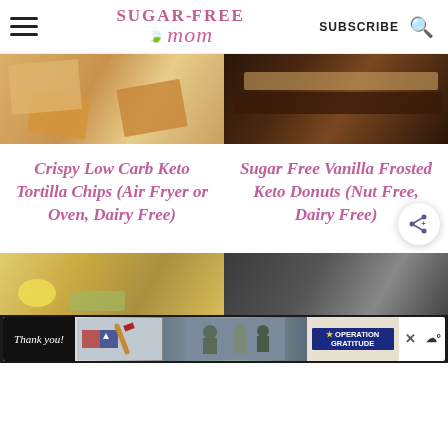Sugar-Free Mom — SUBSCRIBE
[Figure (photo): Crispy tortilla chips on a white plate]
[Figure (photo): Chocolate frosted keto donut cross-section]
Crispy Low Carb Keto Tortilla Chips (Air Fryer or Oven, Dairy Free)
Sugar Free Vanilla Frosted Keto Donuts (Nut Free, Dairy Free)
[Figure (photo): Food ingredients with eggs and herbs]
[Figure (photo): Dark chocolate dessert close-up]
[Figure (other): Advertisement bar: Operation Gratitude thank you ad]